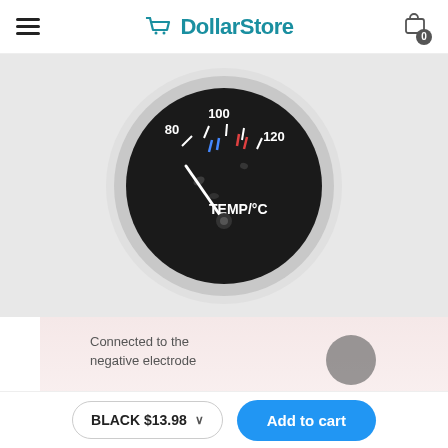DollarStore
[Figure (photo): Close-up photo of a circular car temperature gauge with white bezel and black face, showing TEMP/°C label and scale markings at 80, 100, 120 degrees Celsius, with blue and red indicators near the 100 mark.]
[Figure (photo): Partial product info banner with light pink background showing text 'Connected to the negative electrode' and a small circular element on the right side.]
Connected to the negative electrode
BLACK $13.98
Add to cart